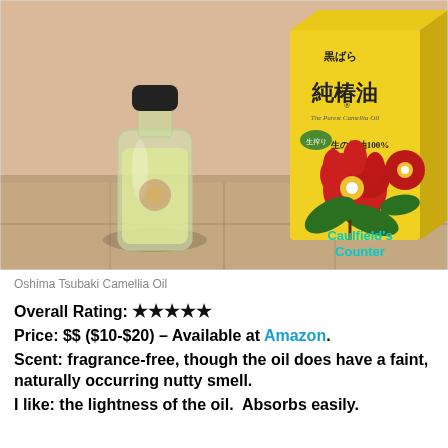[Figure (photo): Photo of Oshima Tsubaki Camellia Oil: a small glass bottle with yellow-green oil and black cap beside a bright yellow product box featuring red camellia flowers and Japanese text. Items sit on beige tile. Watermark reads 'Caulfield's Counter' in teal.]
Oshima Tsubaki Camellia Oil
Overall Rating: ★★★★★
Price: $$ ($10-$20) – Available at Amazon.
Scent: fragrance-free, though the oil does have a faint, naturally occurring nutty smell.
I like: the lightness of the oil.  Absorbs easily.